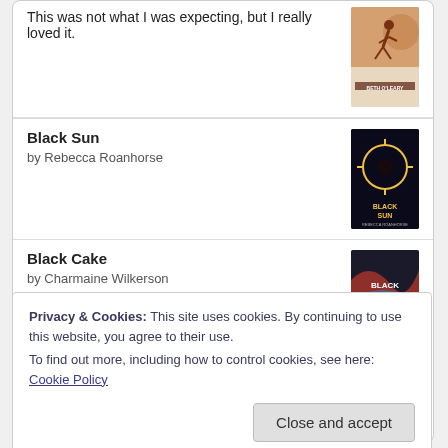This was not what I was expecting, but I really loved it.
Black Sun
by Rebecca Roanhorse
Black Cake
by Charmaine Wilkerson
[Figure (logo): Goodreads logo button with rounded rectangle border]
Privacy & Cookies: This site uses cookies. By continuing to use this website, you agree to their use.
To find out more, including how to control cookies, see here: Cookie Policy
Close and accept